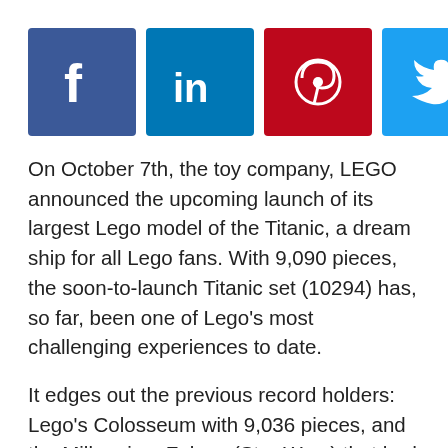[Figure (other): Social media sharing icons row: Facebook (blue), LinkedIn (blue), Pinterest (red), Twitter (light blue), Email (grey), WhatsApp (green)]
On October 7th, the toy company, LEGO announced the upcoming launch of its largest Lego model of the Titanic, a dream ship for all Lego fans. With 9,090 pieces, the soon-to-launch Titanic set (10294) has, so far, been one of Lego's most challenging experiences to date.
It edges out the previous record holders: Lego's Colosseum with 9,036 pieces, and the Millennium Falcon (Star Wars) that had 7,541 pieces. Even though it is a one-of-its-kind model, it is not the Lego set with the most number of pieces overall, because the Lego Art World Map includes 11,695.